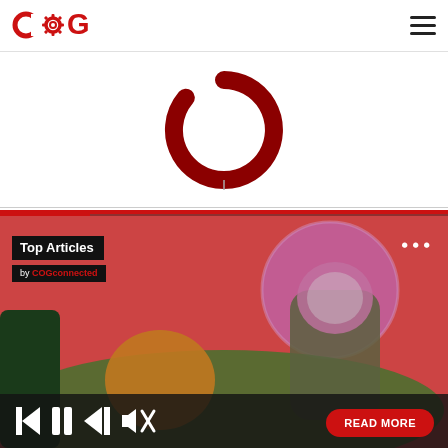COGconnected logo and navigation
[Figure (illustration): Partial loading spinner ring in dark red/crimson color with a vertical line below it, on white background]
[Figure (screenshot): COGconnected Top Articles card showing colorful alien world game art with an astronaut and creatures. Overlaid text: 'Top Articles' and 'by COGconnected'. Media player controls (previous, pause, next, mute) at bottom left, and a red 'READ MORE' button at bottom right.]